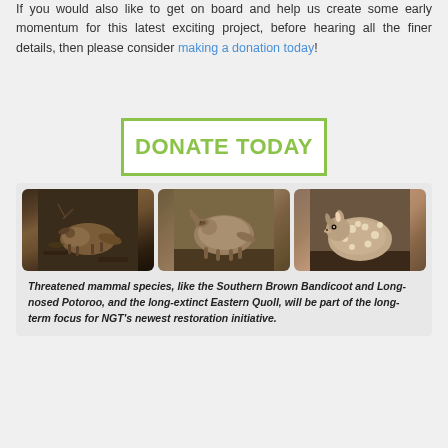If you would also like to get on board and help us create some early momentum for this latest exciting project, before hearing all the finer details, then please consider making a donation today!
[Figure (other): Green-bordered box with bold green text reading DONATE TODAY on white background]
[Figure (photo): Three photos of small mammals: Southern Brown Bandicoot on forest floor, Long-nosed Potoroo, and Eastern Quoll]
Threatened mammal species, like the Southern Brown Bandicoot and Long-nosed Potoroo, and the long-extinct Eastern Quoll, will be part of the long-term focus for NGT's newest restoration initiative.